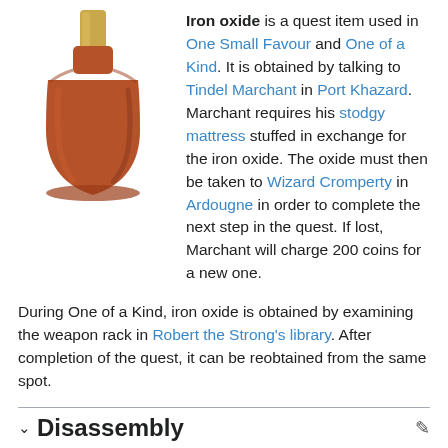[Figure (illustration): 3D rendered illustration of a brown bottle/vial with a gold/yellow top, representing the Iron Oxide quest item from RuneScape.]
Iron oxide is a quest item used in One Small Favour and One of a Kind. It is obtained by talking to Tindel Marchant in Port Khazard. Marchant requires his stodgy mattress stuffed in exchange for the iron oxide. The oxide must then be taken to Wizard Cromperty in Ardougne in order to complete the next step in the quest. If lost, Marchant will charge 200 coins for a new one.
During One of a Kind, iron oxide is obtained by examining the weapon rack in Robert the Strong's library. After completion of the quest, it can be reobtained from the same spot.
Disassembly